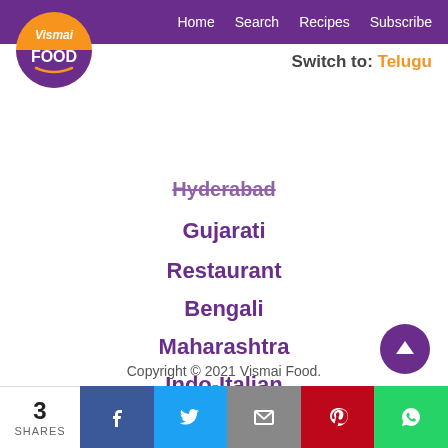Home  Search  Recipes  Subscribe
[Figure (logo): Vismai Food logo — circular logo with orange top half and purple bottom half, text 'Vismai FOOD' with a smile arc]
Switch to: Telugu
Hyderabad (strikethrough)
Gujarati
Restaurant
Bengali
Maharashtra
Indo-Italian
Privacy Policy
Get in touch
Copyright © 2021 Vismai Food.
3 SHARES